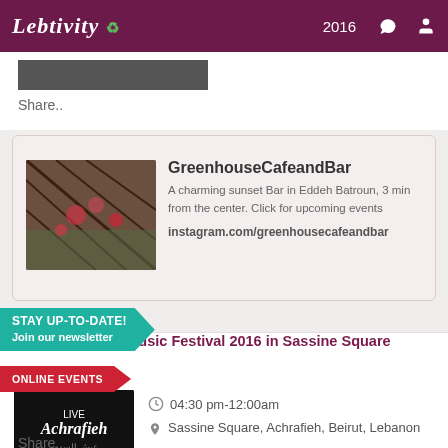Lebtivity 2016
Share..
ADVERTISEMENT
[Figure (photo): Interior of Greenhouse Cafe and Bar showing overhead structure with plants]
GreenhouseCafeandBar
A charming sunset Bar in Eddeh Batroun, 3 min from the center. Click for upcoming events
instagram.com/greenhousecafeandbar
STAY UP-TO-DATE!
Join our newsletter
Live Achrafieh - Music Festival 2016 in Sassine Square
ONLINE EVENTS
[Figure (photo): Live Achrafieh event poster with Arabic calligraphy on dark background]
04:30 pm-12:00am
Sassine Square, Achrafieh, Beirut, Lebanon
Share..